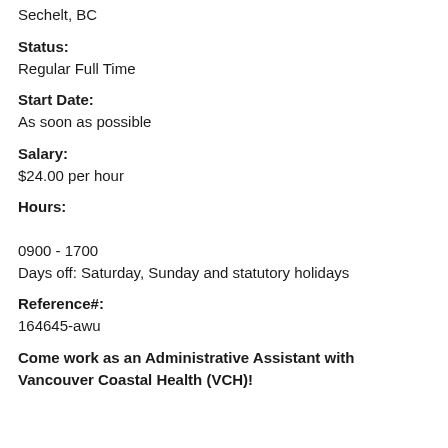Sechelt, BC
Status:
Regular Full Time
Start Date:
As soon as possible
Salary:
$24.00 per hour
Hours:

0900 - 1700
Days off: Saturday, Sunday and statutory holidays
Reference#:
164645-awu
Come work as an Administrative Assistant with Vancouver Coastal Health (VCH)!